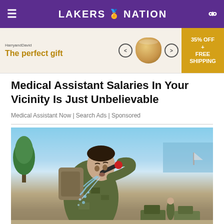LAKERS NATION
[Figure (photo): Advertisement banner: 'The perfect gift' with food bowl image and '35% OFF + FREE SHIPPING' offer]
Medical Assistant Salaries In Your Vicinity Is Just Unbelievable
Medical Assistant Now | Search Ads | Sponsored
[Figure (photo): A soldier in camouflage uniform drinking water from a hose/pipe, water splashing, outdoors near a waterfront with military vehicles in the background]